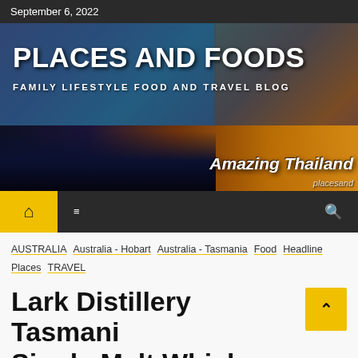September 6, 2022
[Figure (photo): Places and Foods blog banner showing a collage of travel photos with people, cityscapes, and the text 'PLACES AND FOODS' and 'FAMILY LIFESTYLE FOOD AND TRAVEL BLOG'. Includes 'Amazing Thailand' and 'placesand' overlaid text.]
PLACES AND FOODS
FAMILY LIFESTYLE FOOD AND TRAVEL BLOG
Amazing Thailand
placesand
AUSTRALIA  Australia - Hobart  Australia - Tasmania  Food  Headline  Places  TRAVEL
Lark Distillery Tasmani Single Malt Whisky